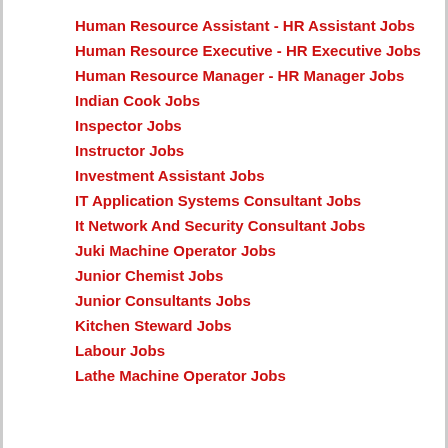Human Resource Assistant - HR Assistant Jobs
Human Resource Executive - HR Executive Jobs
Human Resource Manager - HR Manager Jobs
Indian Cook Jobs
Inspector Jobs
Instructor Jobs
Investment Assistant Jobs
IT Application Systems Consultant Jobs
It Network And Security Consultant Jobs
Juki Machine Operator Jobs
Junior Chemist Jobs
Junior Consultants Jobs
Kitchen Steward Jobs
Labour Jobs
Lathe Machine Operator Jobs